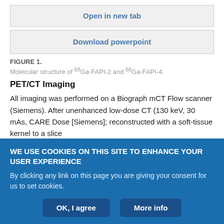Open in new tab
Download powerpoint
FIGURE 1.
Molecular structure of 68Ga-FAPI-2 and 68Ga-FAPI-4.
PET/CT Imaging
All imaging was performed on a Biograph mCT Flow scanner (Siemens). After unenhanced low-dose CT (130 keV, 30 mAs, CARE Dose [Siemens]; reconstructed with a soft-tissue kernel to a slice
WE USE COOKIES ON THIS SITE TO ENHANCE YOUR USER EXPERIENCE
By clicking any link on this page you are giving your consent for us to set cookies.
OK, I agree
More info